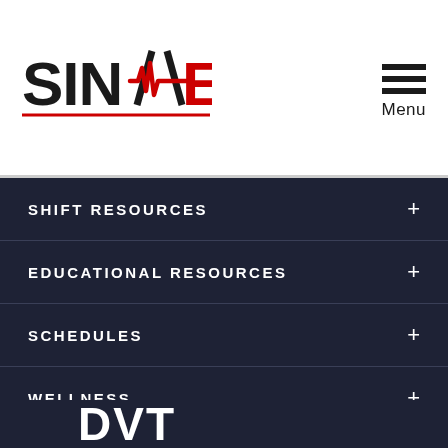[Figure (logo): SINAIEM logo with heartbeat line graphic and red/black text]
SHIFT RESOURCES +
EDUCATIONAL RESOURCES +
SCHEDULES +
WELLNESS +
DVT